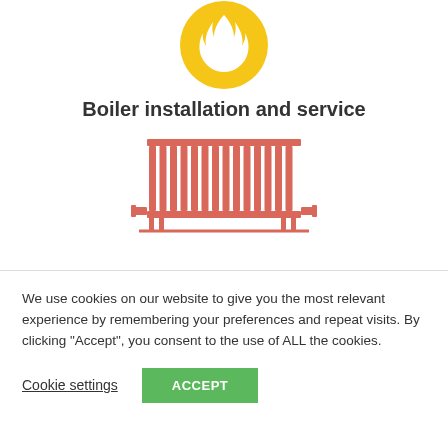[Figure (illustration): Yellow flame icon at top center of page]
Boiler installation and service
[Figure (illustration): Pink/salmon colored radiator icon]
We use cookies on our website to give you the most relevant experience by remembering your preferences and repeat visits. By clicking “Accept”, you consent to the use of ALL the cookies.
Cookie settings
ACCEPT